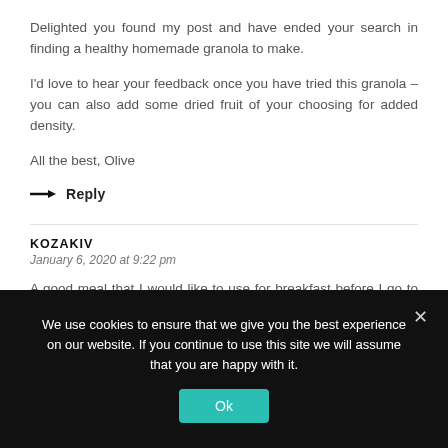Delighted you found my post and have ended your search in finding a healthy homemade granola to make.
I'd love to hear your feedback once you have tried this granola – you can also add some dried fruit of your choosing for added density.
All the best, Olive
→ Reply
KOZAKIV
January 6, 2020 at 9:22 pm
A good meal that I would like to use for breakfast before I go to work. I like the recipes that are homemade.
We use cookies to ensure that we give you the best experience on our website. If you continue to use this site we will assume that you are happy with it.